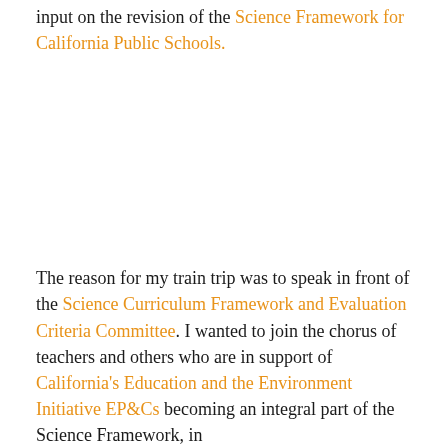input on the revision of the Science Framework for California Public Schools.
The reason for my train trip was to speak in front of the Science Curriculum Framework and Evaluation Criteria Committee. I wanted to join the chorus of teachers and others who are in support of California's Education and the Environment Initiative EP&Cs becoming an integral part of the Science Framework, in